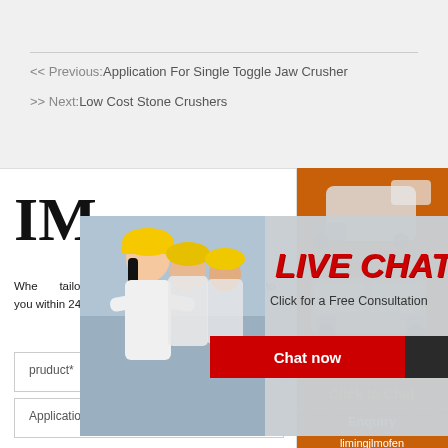<< Previous:Application For Single Toggle Jaw Crusher
>> Next:Low Cost Stone Crushers
IM
When... tailored... terms and other required details to you within 24 hours.
[Figure (screenshot): Live Chat overlay popup with photo of workers in yellow hard hats, LIVE CHAT heading in red italic, 'Click for a Free Consultation' subtitle, Chat now (red) and Chat later (dark) buttons, and close button]
[Figure (photo): Orange sidebar with images of stone crushing machinery, Enjoy 3% discount banner in yellow with red text, Click to Chat in yellow text, Enquiry section, and email limingjlmofen@sina.com]
pruduct*
Application*
Enquiry
limingjlmofen @sina.com